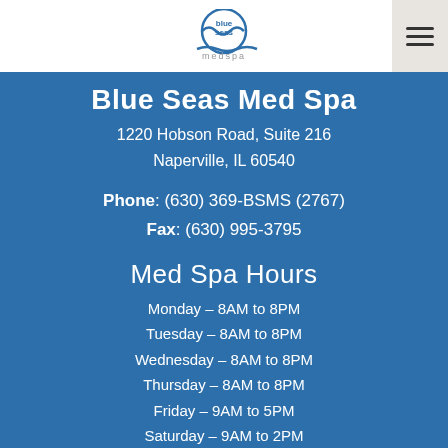[Figure (logo): Blue Seas Medspa logo with circular wave graphic and text 'blue seas medspa']
Blue Seas Med Spa
1220 Hobson Road, Suite 216
Naperville, IL 60540
Phone: (630) 369-BSMS (2767)
Fax: (630) 995-3795
Med Spa Hours
Monday – 8AM to 8PM
Tuesday – 8AM to 8PM
Wednesday – 8AM to 8PM
Thursday – 8AM to 8PM
Friday – 9AM to 5PM
Saturday – 9AM to 2PM